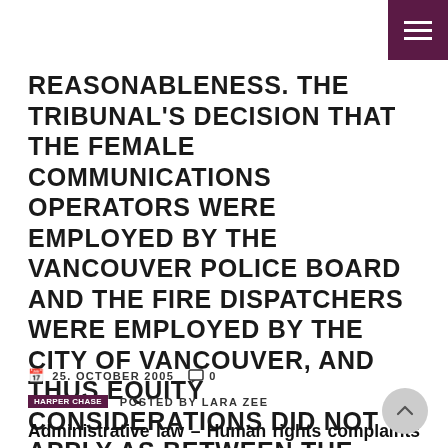REASONABLENESS. THE TRIBUNAL'S DECISION THAT THE FEMALE COMMUNICATIONS OPERATORS WERE EMPLOYED BY THE VANCOUVER POLICE BOARD AND THE FIRE DISPATCHERS WERE EMPLOYED BY THE CITY OF VANCOUVER, AND THUS EQUITY CONSIDERATIONS DID NOT APPLY AS BETWEEN THE TWO GROUPS, WAS REASONABLE.
25. OCTOBER 2005  0
POSTED BY LARA ZEE
Administrative law – Human rights complaints – Discrimination – Gender – Wage disparity – Employment law – Pay equity – Decisions of administrative tribunals – Human Rights